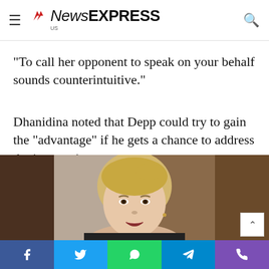NewsEXPRESS US
“To call her opponent to speak on your behalf sounds counterintuitive.”
Dhanidina noted that Depp could try to gain the “advantage” if he gets a chance to address the jury again.
[Figure (photo): A blonde woman with hair pulled up, appearing to speak or testify, photographed against a brown wooden background.]
Social share buttons: Facebook, Twitter, WhatsApp, Telegram, Phone